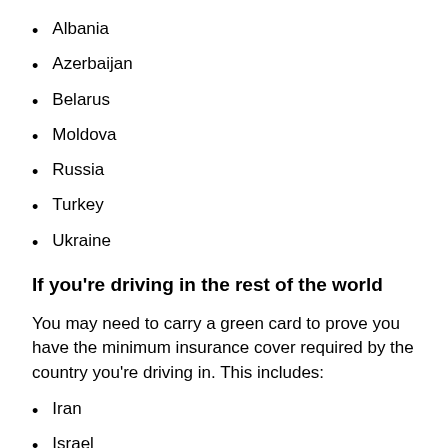Albania
Azerbaijan
Belarus
Moldova
Russia
Turkey
Ukraine
If you're driving in the rest of the world
You may need to carry a green card to prove you have the minimum insurance cover required by the country you're driving in. This includes:
Iran
Israel
Morocco
Tunisia
You may also need additional insurance for your vehicle,